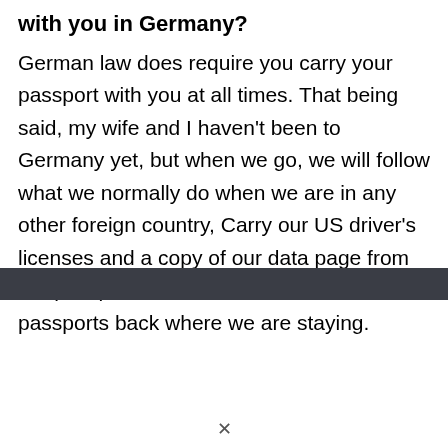with you in Germany?
German law does require you carry your passport with you at all times. That being said, my wife and I haven't been to Germany yet, but when we go, we will follow what we normally do when we are in any other foreign country, Carry our US driver's licenses and a copy of our data page from our passports and leave our actual passports back where we are staying.